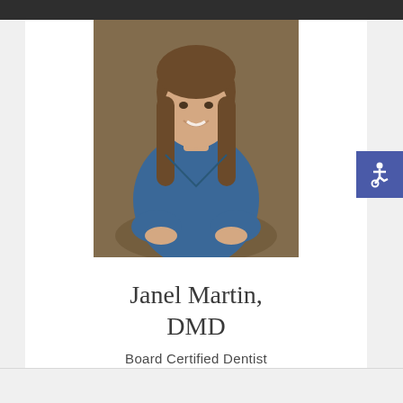[Figure (photo): Professional headshot of a woman with long brown hair wearing blue medical scrubs, smiling, seated with hands in lap, in a warm indoor setting.]
Janel Martin, DMD
Board Certified Dentist